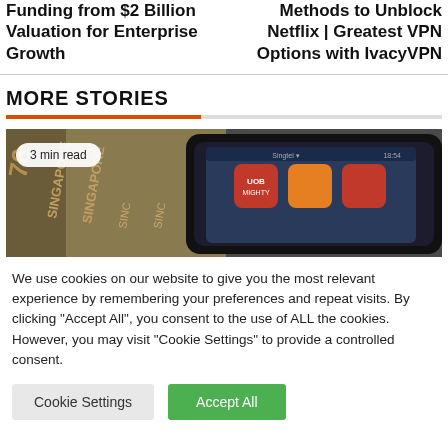Funding from $2 Billion Valuation for Enterprise Growth
Methods to Unblock Netflix | Greatest VPN Options with IvacyVPN
MORE STORIES
[Figure (photo): Photo of Singapore currency notes with a smartphone showing the UOB Mighty banking app, with a '3 min read' badge overlay.]
We use cookies on our website to give you the most relevant experience by remembering your preferences and repeat visits. By clicking "Accept All", you consent to the use of ALL the cookies. However, you may visit "Cookie Settings" to provide a controlled consent.